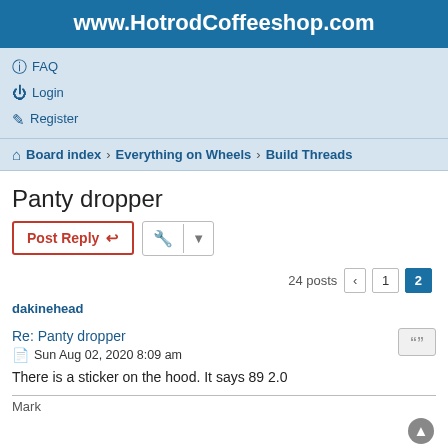www.HotrodCoffeeshop.com
FAQ
Login
Register
Board index › Everything on Wheels › Build Threads
Panty dropper
Post Reply
24 posts  1  2
dakinehead
Re: Panty dropper
Sun Aug 02, 2020 8:09 am
There is a sticker on the hood. It says 89 2.0
Mark
dakinehead